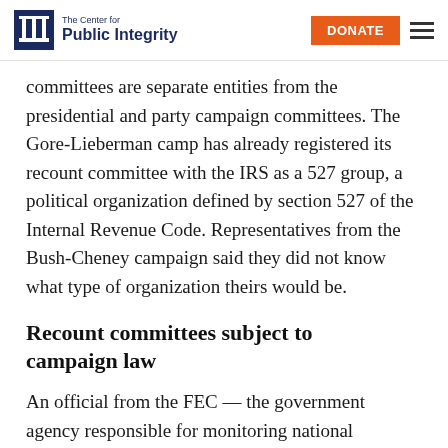The Center for Public Integrity
committees are separate entities from the presidential and party campaign committees. The Gore-Lieberman camp has already registered its recount committee with the IRS as a 527 group, a political organization defined by section 527 of the Internal Revenue Code. Representatives from the Bush-Cheney campaign said they did not know what type of organization theirs would be.
Recount committees subject to campaign law
An official from the FEC — the government agency responsible for monitoring national campaigns